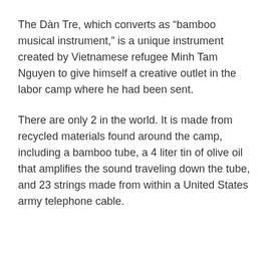The Dàn Tre, which converts as “bamboo musical instrument,” is a unique instrument created by Vietnamese refugee Minh Tam Nguyen to give himself a creative outlet in the labor camp where he had been sent.
There are only 2 in the world. It is made from recycled materials found around the camp, including a bamboo tube, a 4 liter tin of olive oil that amplifies the sound traveling down the tube, and 23 strings made from within a United States army telephone cable.